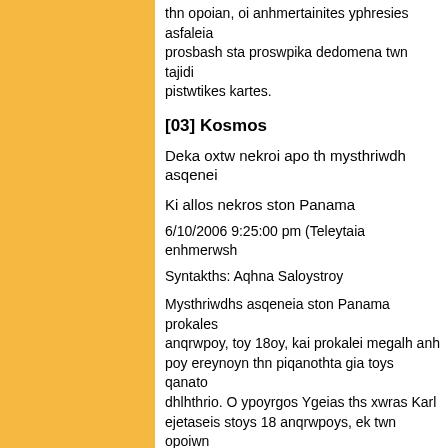thn opoian, oi anhmertainties yphresies asfaleia prosbash sta proswpika dedomena twn tajidiwtwn pistwtikes kartes.
[03] Kosmos
Deka oxtw nekroi apo th mysthriwdh asqeneia
Ki allos nekros ston Panama
6/10/2006 9:25:00 pm (Teleytaia enhmerwsh
Syntakths: Aqhna Saloystroy
Mysthriwdhs asqeneia ston Panama prokales anqrwpoy, toy 18oy, kai prokalei megalh anh poy ereynoyn thn piqanothta gia toys qanato dhlhthrio. O ypoyrgos Ygeias ths xwras Karl ejetaseis stoys 18 anqrwpoys, ek twn opoiw ebdomada kai paroysiazan ychlo pyreto, diar edeijan blabh sta nefra kai toys neyrikoys ist shmainei piqanh dhlhthriash. Oi eidikoi ejeta ta qymata prospaqwntas na entopisoyn an y paragontas. "Apo tis ejetaseis sta nefra kai to blabes poy deixnoyn kapoia tojikh molynsh" a prosqetontas pws den yparxoyn endeijieis ot